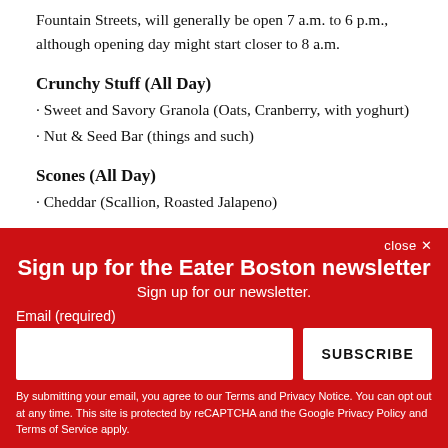Fountain Streets, will generally be open 7 a.m. to 6 p.m., although opening day might start closer to 8 a.m.
Crunchy Stuff (All Day)
Sweet and Savory Granola (Oats, Cranberry, with yoghurt)
Nut & Seed Bar (things and such)
Scones (All Day)
Cheddar (Scallion, Roasted Jalapeno)
close ✕
Sign up for the Eater Boston newsletter
Sign up for our newsletter.
Email (required)
SUBSCRIBE
By submitting your email, you agree to our Terms and Privacy Notice. You can opt out at any time. This site is protected by reCAPTCHA and the Google Privacy Policy and Terms of Service apply.